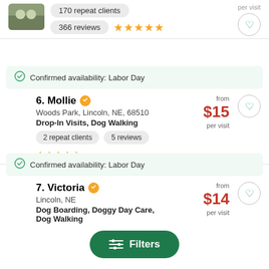170 repeat clients
366 reviews ★★★★★
Confirmed availability: Labor Day
6. Mollie
Woods Park, Lincoln, NE, 68510
Drop-In Visits, Dog Walking
from $15 per visit
2 repeat clients
5 reviews ★★★★★
Confirmed availability: Labor Day
7. Victoria
Lincoln, NE
Dog Boarding, Doggy Day Care, Dog Walking
from $14 per visit
Filters